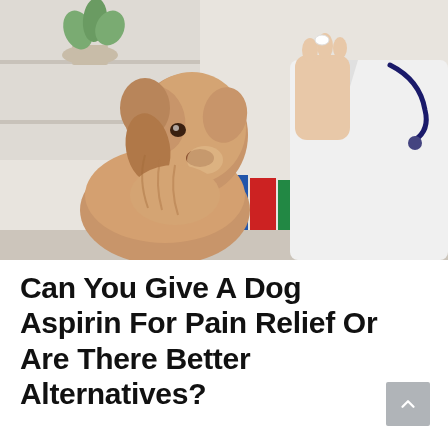[Figure (photo): A fluffy golden/tan dog looking up at a person in a white lab coat (veterinarian) who is holding a small pill in one hand and a white medicine bottle in the other. The background shows shelving with binders and a potted plant in a clinical/veterinary office setting.]
Can You Give A Dog Aspirin For Pain Relief Or Are There Better Alternatives?